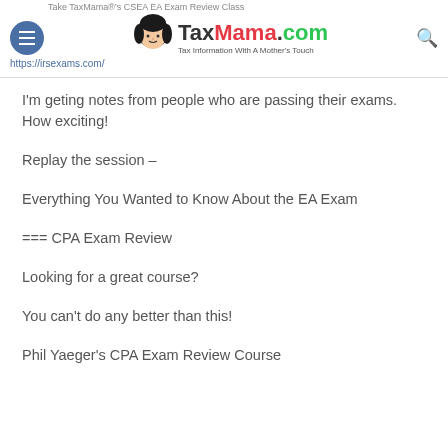TaxMama.com — Tax Information With A Mother's Touch | https://irsexams.com/
Take TaxMama®'s CSEA EA Exam Review Class
I'm geting notes from people who are passing their exams. How exciting!
Replay the session –
Everything You Wanted to Know About the EA Exam
=== CPA Exam Review
Looking for a great course?
You can't do any better than this!
Phil Yaeger's CPA Exam Review Course